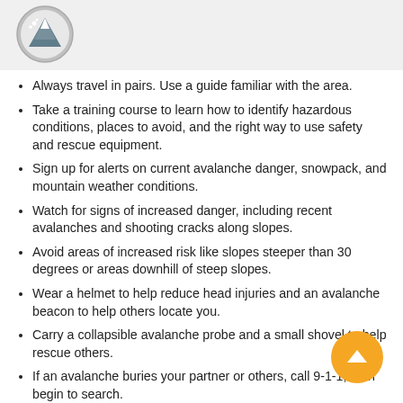[Figure (illustration): Mountain avalanche icon inside a grey circle, used as a header graphic for an avalanche safety guide.]
Always travel in pairs. Use a guide familiar with the area.
Take a training course to learn how to identify hazardous conditions, places to avoid, and the right way to use safety and rescue equipment.
Sign up for alerts on current avalanche danger, snowpack, and mountain weather conditions.
Watch for signs of increased danger, including recent avalanches and shooting cracks along slopes.
Avoid areas of increased risk like slopes steeper than 30 degrees or areas downhill of steep slopes.
Wear a helmet to help reduce head injuries and an avalanche beacon to help others locate you.
Carry a collapsible avalanche probe and a small shovel to help rescue others.
If an avalanche buries your partner or others, call 9-1-1, then begin to search.
Treat others for suffocation, hypothermia, traumatic injury, or...